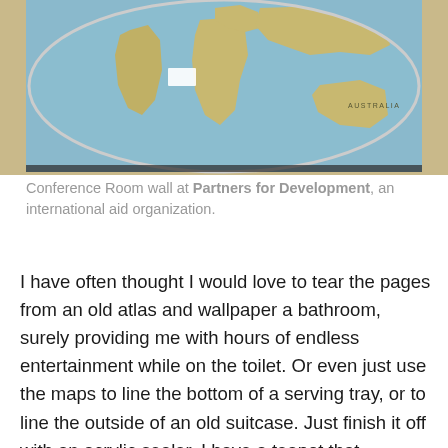[Figure (photo): Photo of a large circular world map hanging on a conference room wall with a beige/tan background. The map shows continents including Africa, South America, Australia, and parts of Asia and Europe on a blue ocean background.]
Conference Room wall at Partners for Development, an international aid organization.
I have often thought I would love to tear the pages from an old atlas and wallpaper a bathroom, surely providing me with hours of endless entertainment while on the toilet. Or even just use the maps to line the bottom of a serving tray, or to line the outside of an old suitcase. Just finish it off with an acrylic sealer. I have a teapot that resembles a mini-globe. The globe itself can stand alone as sculpture